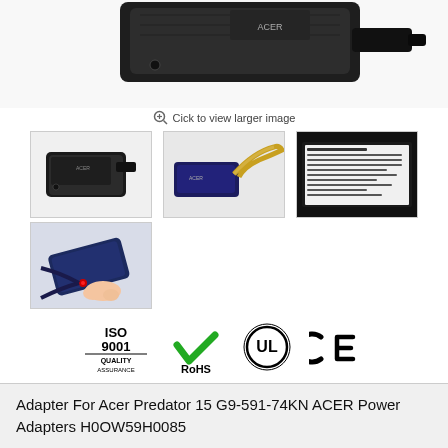[Figure (photo): Main large photo of Acer power adapter brick, dark gray/black, angled view showing top and connector]
Cick to view larger image
[Figure (photo): Thumbnail 1: Power adapter side view]
[Figure (photo): Thumbnail 2: Power adapter with cable/cord]
[Figure (photo): Thumbnail 3: Label/spec sticker on adapter]
[Figure (photo): Thumbnail 4: Blue adapter with red LED connector tip being held]
[Figure (infographic): Certification logos: ISO 9001 Quality Assurance, RoHS checkmark, UL circle mark, CE mark]
Adapter For Acer Predator 15 G9-591-74KN ACER Power Adapters H0OW59H0085